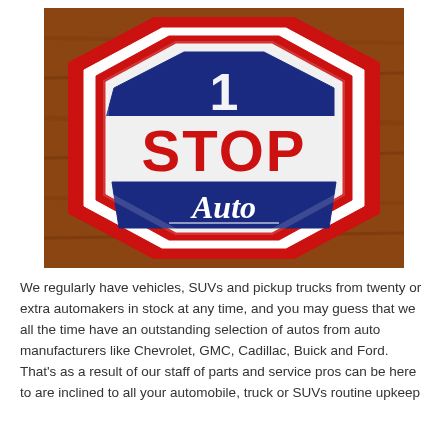[Figure (logo): 1 Stop Auto logo: an octagon shaped sign with red outline, white border, blue center top and bottom sections. The number '1' appears in white at the top in the blue section. 'STOP' appears in large bold red letters in the middle white section. 'Auto' appears in white cursive script on a blue banner at the bottom. The sign is on a wooden background.]
We regularly have vehicles, SUVs and pickup trucks from twenty or extra automakers in stock at any time, and you may guess that we all the time have an outstanding selection of autos from auto manufacturers like Chevrolet, GMC, Cadillac, Buick and Ford. That's as a result of our staff of parts and service pros can be here to are inclined to all your automobile, truck or SUVs routine upkeep